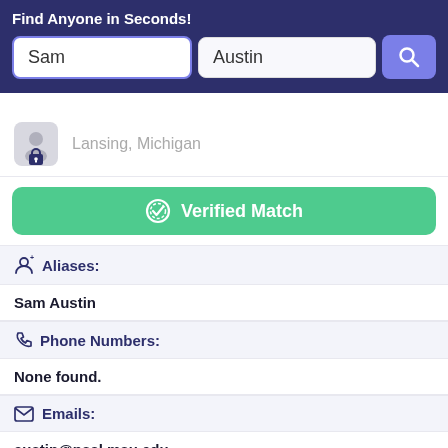Find Anyone in Seconds!
Sam
Austin
Lansing, Michigan
Verified Match
Aliases:
Sam Austin
Phone Numbers:
None found.
Emails:
austin@nscl.msu.edu
Addresses:
Lansing, Michigan, United States